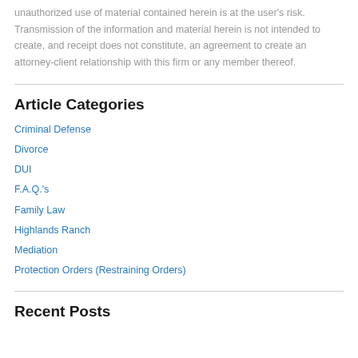unauthorized use of material contained herein is at the user's risk. Transmission of the information and material herein is not intended to create, and receipt does not constitute, an agreement to create an attorney-client relationship with this firm or any member thereof.
Article Categories
Criminal Defense
Divorce
DUI
F.A.Q.'s
Family Law
Highlands Ranch
Mediation
Protection Orders (Restraining Orders)
Recent Posts